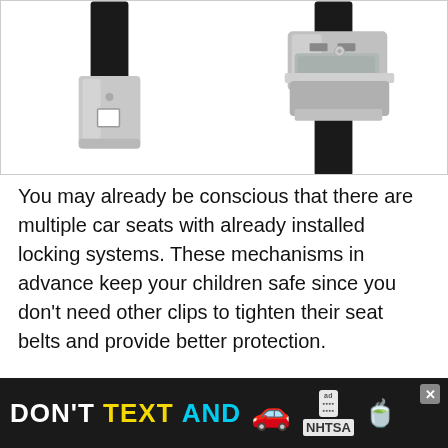[Figure (photo): Product photo showing two seat belt parts: on the left a black webbing strap with a metal latch plate (tongue), and on the right a chrome/silver seat belt buckle mechanism, both on white background with light gray border.]
You may already be conscious that there are multiple car seats with already installed locking systems. These mechanisms in advance keep your children safe since you don't need other clips to tighten their seat belts and provide better protection.
If your seats come with these clips, you'll get ins...
[Figure (other): Advertisement banner overlay at the bottom. Dark background. Text reads: DON'T TEXT AND [car emoji] with ad badge and NHTSA logo. Has a close/X button in top right corner.]